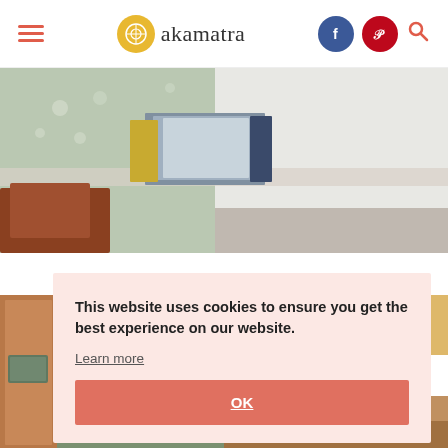akamatra — navigation header with hamburger menu, logo, Facebook icon, Pinterest icon, search icon
[Figure (photo): Hero image showing books stacked on a decorative tiled shelf with floral pattern, wooden furniture visible at lower left]
This website uses cookies to ensure you get the best experience on our website.
Learn more
OK
[Figure (photo): Bottom thumbnail strip showing two partial images]
[Figure (photo): Left edge showing partial cork board image]